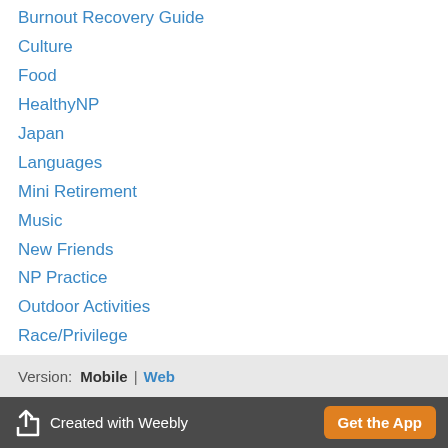Burnout Recovery Guide
Culture
Food
HealthyNP
Japan
Languages
Mini Retirement
Music
New Friends
NP Practice
Outdoor Activities
Race/Privilege
Stress
Travel
RSS Feed
Version: Mobile | Web
Created with Weebly  Get the App